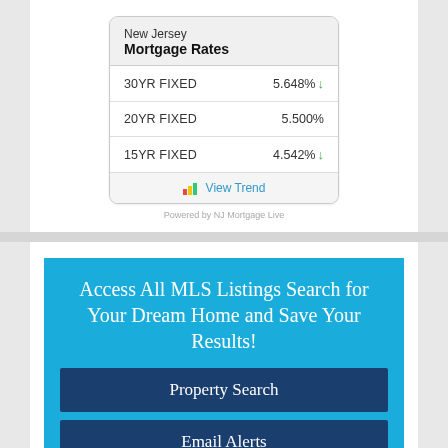| Product | Rate | Trend |
| --- | --- | --- |
| 30YR FIXED | 5.648% | ↓ |
| 20YR FIXED | 5.500% |  |
| 15YR FIXED | 4.542% | ↓ |
Powered by NJ Mortgage Live
[Figure (infographic): Blue banner advertisement: Access All MLS Listings Search for Your Dream Home and Save Your Results! with Property Search and Email Alerts buttons]